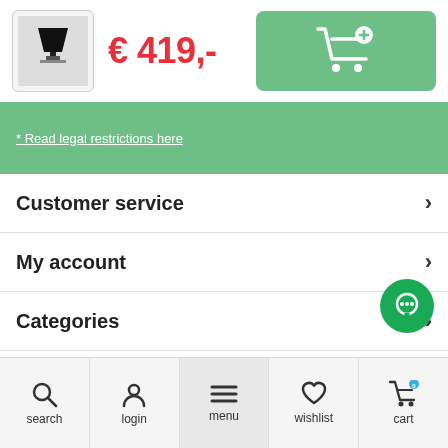[Figure (photo): Thumbnail of a floor lamp product (black lamp on grey background)]
€ 419,-
[Figure (other): Add to cart button with shopping cart and plus icon on green background]
* Read legal restrictions here
Customer service
My account
Categories
Contact
[Figure (other): Green chat bubble icon]
search  login  menu  wishlist  cart